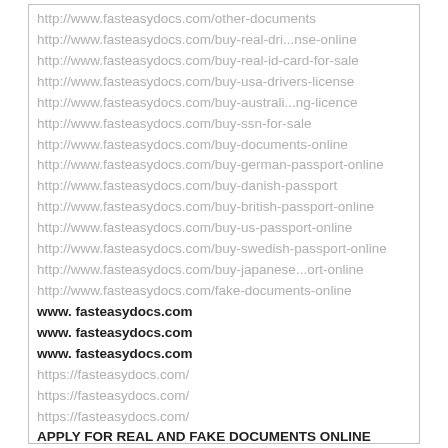http://www.fasteasydocs.com/other-documents
http://www.fasteasydocs.com/buy-real-dri...nse-online
http://www.fasteasydocs.com/buy-real-id-card-for-sale
http://www.fasteasydocs.com/buy-usa-drivers-license
http://www.fasteasydocs.com/buy-australi...ng-licence
http://www.fasteasydocs.com/buy-ssn-for-sale
http://www.fasteasydocs.com/buy-documents-online
http://www.fasteasydocs.com/buy-german-passport-online
http://www.fasteasydocs.com/buy-danish-passport
http://www.fasteasydocs.com/buy-british-passport-online
http://www.fasteasydocs.com/buy-us-passport-online
http://www.fasteasydocs.com/buy-swedish-passport-online
http://www.fasteasydocs.com/buy-japanese...ort-online
http://www.fasteasydocs.com/fake-documents-online
www. fasteasydocs.com
www. fasteasydocs.com
www. fasteasydocs.com
https://fasteasydocs.com/
https://fasteasydocs.com/
https://fasteasydocs.com/
APPLY FOR REAL AND FAKE DOCUMENTS ONLINE
https://fasteasydocs.com/
APPLY FOR REAL AND FAKE DOCUMENTS ONLINE